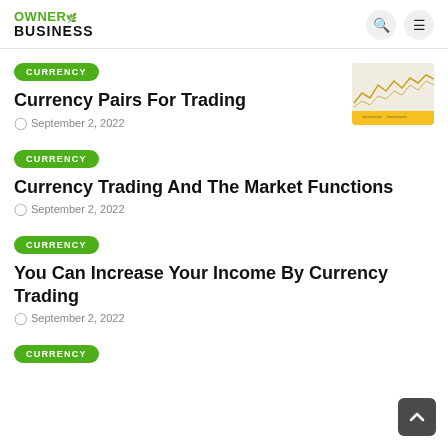OWNER BUSINESS
CURRENCY | Currency Pairs For Trading | September 2, 2022
CURRENCY | Currency Trading And The Market Functions | September 2, 2022
CURRENCY | You Can Increase Your Income By Currency Trading | September 2, 2022
CURRENCY